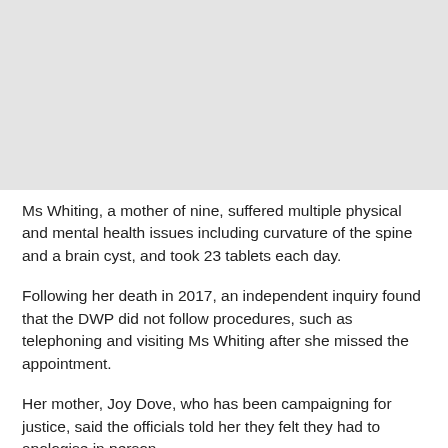[Figure (photo): Placeholder image area at top of page, light grey background]
Ms Whiting, a mother of nine, suffered multiple physical and mental health issues including curvature of the spine and a brain cyst, and took 23 tablets each day.
Following her death in 2017, an independent inquiry found that the DWP did not follow procedures, such as telephoning and visiting Ms Whiting after she missed the appointment.
Her mother, Joy Dove, who has been campaigning for justice, said the officials told her they felt they had to apologise in person.